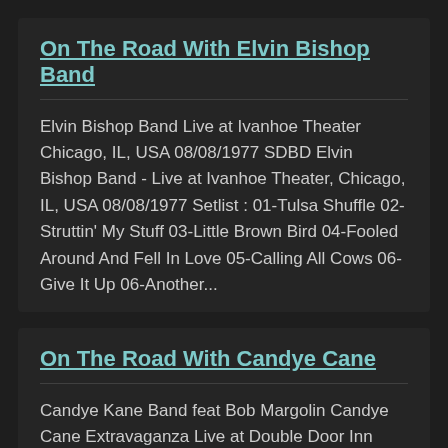On The Road With Elvin Bishop Band
Elvin Bishop Band Live at Ivanhoe Theater Chicago, IL, USA 08/08/1977 SDBD Elvin Bishop Band - Live at Ivanhoe Theater, Chicago, IL, USA 08/08/1977 Setlist : 01-Tulsa Shuffle 02-Struttin' My Stuff 03-Little Brown Bird 04-Fooled Around And Fell In Love 05-Calling All Cows 06-Give It Up 06-Another...
On The Road With Candye Cane
Candye Kane Band feat Bob Margolin Candye Cane Extravaganza Live at Double Door Inn    Charlotte, NC - USA May 25, 2007 SDBD soundcloud.com/charlieismydarling/kanemargolin2007 Setlist 1 Just Got Lucky 2 Candye Kane Intro 3 You Need